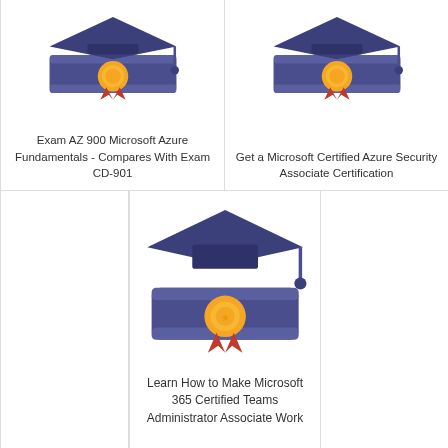[Figure (illustration): Graduation cap and diploma with gold medal/ribbon icon - top left card]
Exam AZ 900 Microsoft Azure Fundamentals - Compares With Exam CD-901
[Figure (illustration): Graduation cap and diploma with gold medal/ribbon icon - top right card]
Get a Microsoft Certified Azure Security Associate Certification
[Figure (illustration): Graduation cap and diploma with gold medal/ribbon icon - bottom center card]
Learn How to Make Microsoft 365 Certified Teams Administrator Associate Work